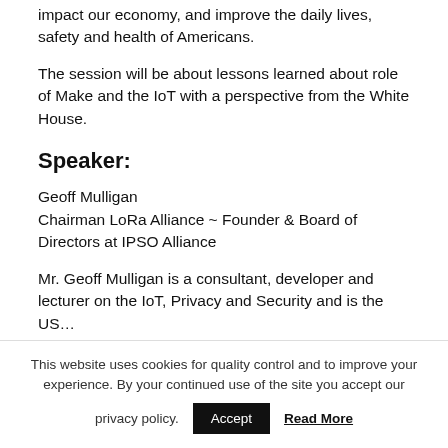impact our economy, and improve the daily lives, safety and health of Americans.
The session will be about lessons learned about role of Make and the IoT with a perspective from the White House.
Speaker:
Geoff Mulligan
Chairman LoRa Alliance ~ Founder & Board of Directors at IPSO Alliance
Mr. Geoff Mulligan is a consultant, developer and lecturer on the IoT, Privacy and Security and is the US…
This website uses cookies for quality control and to improve your experience. By your continued use of the site you accept our privacy policy.  Accept  Read More